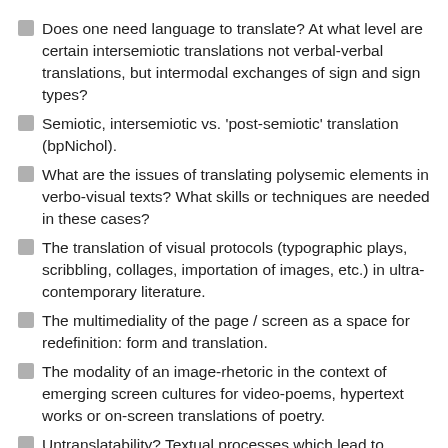Does one need language to translate? At what level are certain intersemiotic translations not verbal-verbal translations, but intermodal exchanges of sign and sign types?
Semiotic, intersemiotic vs. 'post-semiotic' translation (bpNichol).
What are the issues of translating polysemic elements in verbo-visual texts? What skills or techniques are needed in these cases?
The translation of visual protocols (typographic plays, scribbling, collages, importation of images, etc.) in ultra-contemporary literature.
The multimediality of the page / screen as a space for redefinition: form and translation.
The modality of an image-rhetoric in the context of emerging screen cultures for video-poems, hypertext works or on-screen translations of poetry.
Untranslatability? Textual processes which lead to